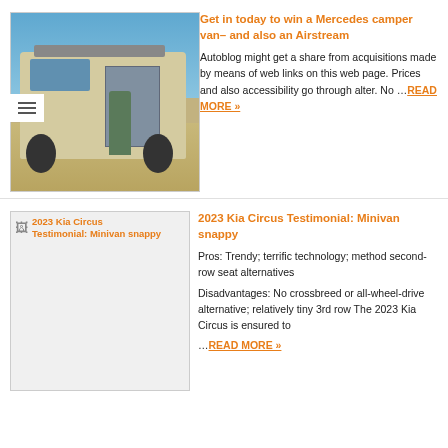[Figure (photo): Photo of a beige/tan Mercedes Sprinter camper van with roof rack, side door open, person standing in doorway, desert/outdoor setting]
Get in today to win a Mercedes camper van– and also an Airstream
Autoblog might get a share from acquisitions made by means of web links on this web page. Prices and also accessibility go through alter. No …READ MORE »
[Figure (photo): 2023 Kia Circus Testimonial: Minivan snappy – broken image placeholder]
2023 Kia Circus Testimonial: Minivan snappy
Pros: Trendy; terrific technology; method second-row seat alternatives Disadvantages: No crossbreed or all-wheel-drive alternative; relatively tiny 3rd row The 2023 Kia Circus is ensured to …READ MORE »